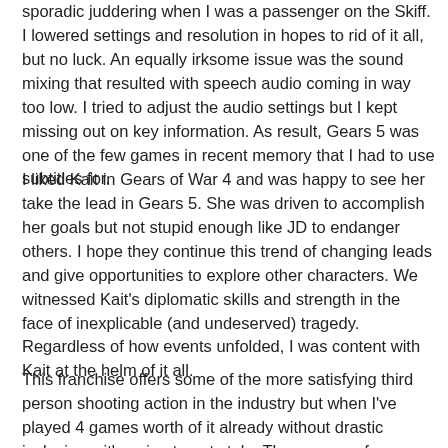sporadic juddering when I was a passenger on the Skiff. I lowered settings and resolution in hopes to rid of it all, but no luck. An equally irksome issue was the sound mixing that resulted with speech audio coming in way too low. I tried to adjust the audio settings but I kept missing out on key information. As result, Gears 5 was one of the few games in recent memory that I had to use subtitles for.
I liked Kait in Gears of War 4 and was happy to see her take the lead in Gears 5. She was driven to accomplish her goals but not stupid enough like JD to endanger others. I hope they continue this trend of changing leads and give opportunities to explore other characters. We witnessed Kait's diplomatic skills and strength in the face of inexplicable (and undeserved) tragedy. Regardless of how events unfolded, I was content with Kait at the helm of it all.
This franchise offers some of the more satisfying third person shooting action in the industry but when I've played 4 games worth of it already without drastic inclusions: it's going to get stale. There were, of course, new weapons, enemies, and refinements to systems introduced in Gears of War 4 like the stealth mechanic. They even gave Jack new upgradable abilities to influence the battlefield to foster a do it your bit...